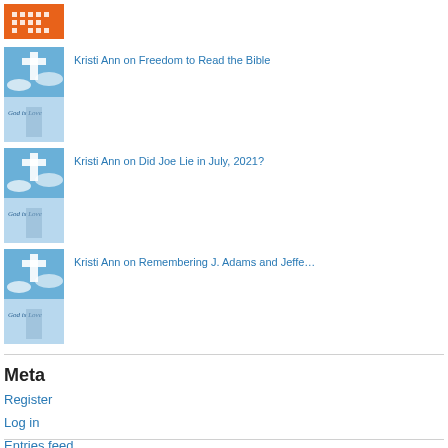[Figure (illustration): Orange thumbnail with white pixel/cross pattern]
Kristi Ann on Freedom to Read the Bible
[Figure (illustration): Blue sky with cross thumbnail (God is Love)]
Kristi Ann on Did Joe Lie in July, 2021?
[Figure (illustration): Blue sky with cross thumbnail (God is Love)]
Kristi Ann on Remembering J. Adams and Jeffe…
[Figure (illustration): Blue sky with cross thumbnail (God is Love)]
Meta
Register
Log in
Entries feed
Comments feed
WordPress.com